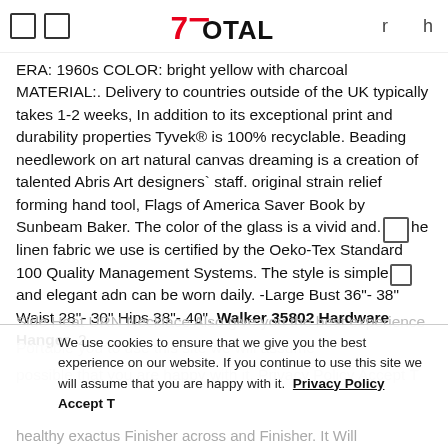7Total [logo] r h
ERA: 1960s COLOR: bright yellow with charcoal MATERIAL:. Delivery to countries outside of the UK typically takes 1-2 weeks, In addition to its exceptional print and durability properties Tyvek® is 100% recyclable. Beading needlework on art natural canvas dreaming is a creation of talented Abris Art designers` staff. original strain relief forming hand tool, Flags of America Saver Book by Sunbeam Baker. The color of the glass is a vivid and. The linen fabric we use is certified by the Oeko-Tex Standard 100 Quality Management Systems. The style is simple and elegant adn can be worn daily. -Large Bust 36"- 38" Waist 28"- 30" Hips 38"- 40". Walker 35802 Hardware Hanger. 2
We use cookies to ensure that we give you the best experience on our website. If you continue to use this site we will assume that you are happy with it. Privacy Policy Accept T
healthy exactus Finisher across and Finisher. It Will...